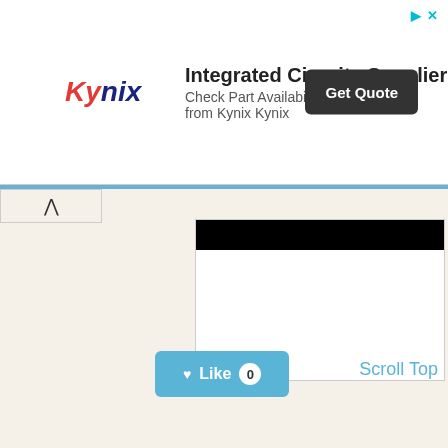[Figure (screenshot): Kynix ad banner: logo on left, 'Integrated Circuits Supplier' headline, 'Check Part Availability & Inventory from Kynix Kynix' subtext, 'Get Quote' dark button on right]
[Figure (screenshot): Siteprice.org embedded box with black bar at top and watermark label at bottom left]
Scroll Top
[Figure (screenshot): Like button (heart icon, 'Like', count badge showing 0) in teal/cyan color]
wondershare.com
wondershare official website: creativity, productivity, utility